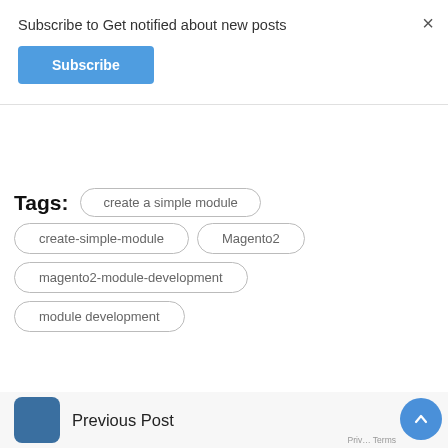Subscribe to Get notified about new posts
Subscribe
×
Tags:  create a simple module  create-simple-module  Magento2  magento2-module-development  module development
Previous Post